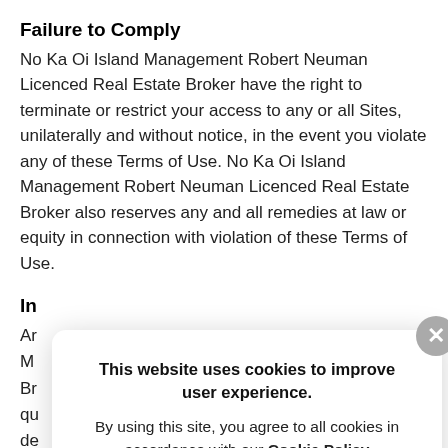Failure to Comply
No Ka Oi Island Management Robert Neuman Licenced Real Estate Broker have the right to terminate or restrict your access to any or all Sites, unilaterally and without notice, in the event you violate any of these Terms of Use. No Ka Oi Island Management Robert Neuman Licenced Real Estate Broker also reserves any and all remedies at law or equity in connection with violation of these Terms of Use.
In
Ar
M
Br
qu
de
M
Ri
[Figure (screenshot): Cookie consent popup overlay with close button (X), title 'This website uses cookies to improve user experience.' and body text 'By using this site, you agree to all cookies in accordance with our Cookie Policy']